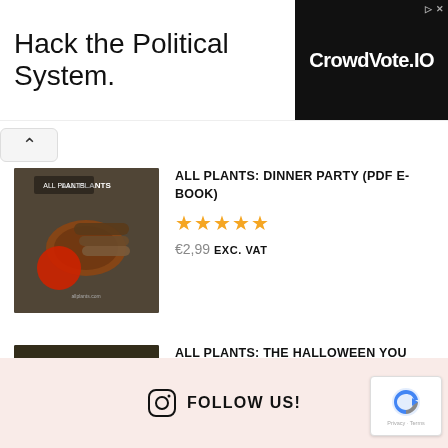[Figure (other): Advertisement banner: 'Hack the Political System.' with CrowdVote.IO logo on black background]
ALL PLANTS: DINNER PARTY (PDF E-BOOK)
★★★★★ €2,99 EXC. VAT
ALL PLANTS: THE HALLOWEEN YOU LOVE, THE VEGAN WAY (PDF E-BOOK)
★★★★★ €2,99 EXC. VAT
FOLLOW US!